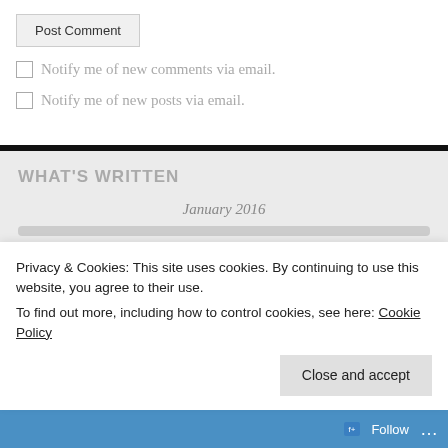Post Comment
Notify me of new comments via email.
Notify me of new posts via email.
WHAT'S WRITTEN
January 2016
Privacy & Cookies: This site uses cookies. By continuing to use this website, you agree to their use.
To find out more, including how to control cookies, see here: Cookie Policy
Close and accept